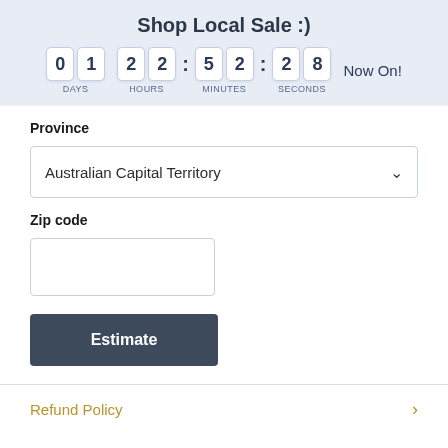Shop Local Sale :)
[Figure (other): Countdown timer showing 01 DAYS, 22 HOURS, 52 MINUTES, 28 SECONDS with 'Now On!' text]
Province
Australian Capital Territory
Zip code
Estimate
Refund Policy